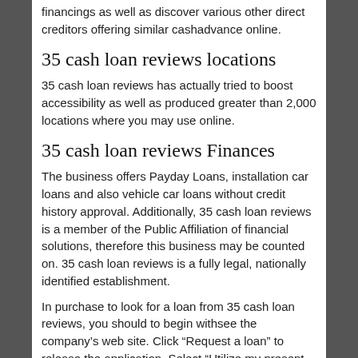financings as well as discover various other direct creditors offering similar cashadvance online.
35 cash loan reviews locations
35 cash loan reviews has actually tried to boost accessibility as well as produced greater than 2,000 locations where you may use online.
35 cash loan reviews Finances
The business offers Payday Loans, installation car loans and also vehicle car loans without credit history approval. Additionally, 35 cash loan reviews is a member of the Public Affiliation of financial solutions, therefore this business may be counted on. 35 cash loan reviews is a fully legal, nationally identified establishment.
In purchase to look for a loan from 35 cash loan reviews, you should to begin withsee the company’s web site. Click “Request a loan” to release the application. Select “Utilize my present site”, get into the zip code. Pick where to administer at the division or online. Afterwards, make a